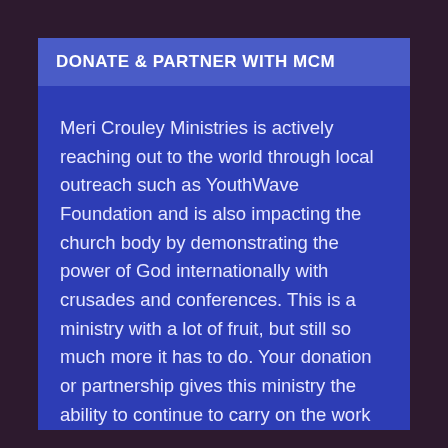DONATE & PARTNER WITH MCM
Meri Crouley Ministries is actively reaching out to the world through local outreach such as YouthWave Foundation and is also impacting the church body by demonstrating the power of God internationally with crusades and conferences. This is a ministry with a lot of fruit, but still so much more it has to do. Your donation or partnership gives this ministry the ability to continue to carry on the work of God locally, nationally & globally. Please give today